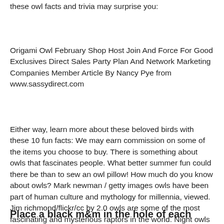these owl facts and trivia may surprise you:
Origami Owl February Shop Host Join And Force For Good Exclusives Direct Sales Party Plan And Network Marketing Companies Member Article By Nancy Pye from www.sassydirect.com
Either way, learn more about these beloved birds with these 10 fun facts: We may earn commission on some of the items you choose to buy. There is something about owls that fascinates people. What better summer fun could there be than to sew an owl pillow! How much do you know about owls? Mark newman / getty images owls have been part of human culture and mythology for millennia, viewed. Jim richmond/flickr/cc by 2.0 owls are some of the most fascinating and mysterious raptors in the world. Night owls twist oreos to separate into halves.
Place a black m&m in the hole of each gummy